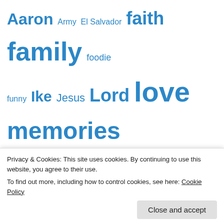[Figure (infographic): Tag cloud with words of varying sizes in blue: Aaron, Army, El Salvador, faith, family, foodie, funny, Ike, Jesus, Lord, love, memories, motherhood, Nate, Nathan, sewing, the Hubs, Uncategorized, United States Military Academy, West Point]
[Figure (photo): Small photo of two orange figurines or plush toys with yellow details, gray background. Pink buttons labeled Fun and Quirky to the right.]
Privacy & Cookies: This site uses cookies. By continuing to use this website, you agree to their use.
To find out more, including how to control cookies, see here: Cookie Policy
Close and accept